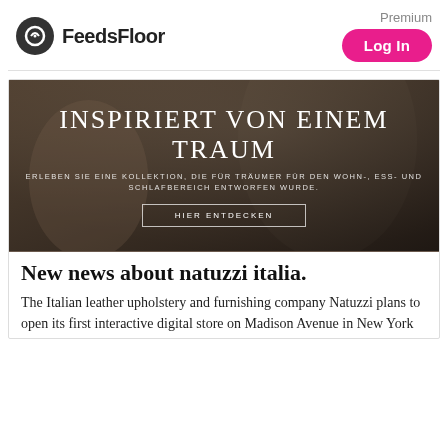FeedsFloor | Premium | Log In
[Figure (photo): Hero banner image with dark moody background showing a person, overlaid with large white serif text 'INSPIRIERT VON EINEM TRAUM', subtitle text 'ERLEBEN SIE EINE KOLLEKTION, DIE FÜR TRÄUMER FÜR DEN WOHN-, ESS- UND SCHLAFBEREICH ENTWORFEN WURDE.' and a button 'HIER ENTDECKEN']
New news about natuzzi italia.
The Italian leather upholstery and furnishing company Natuzzi plans to open its first interactive digital store on Madison Avenue in New York...